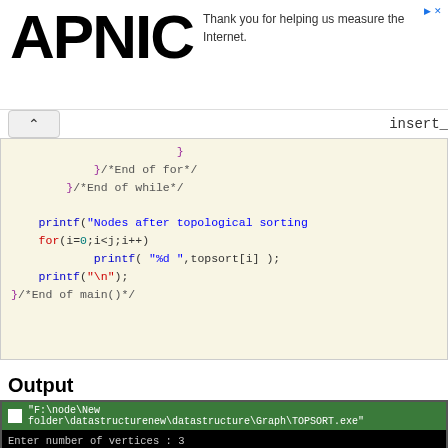[Figure (logo): APNIC logo (large bold black text)]
Thank you for helping us measure the Internet.
[Figure (screenshot): Code editor toolbar with chevron up button and 'insert_' label]
[Figure (screenshot): Code block showing C code: closing braces with comments End of for, End of while, then printf for Nodes after topological sorting, for loop printing topsort[i], printf newline, closing brace End of main()]
Output
[Figure (screenshot): Terminal window showing TOPSORT.exe output: Enter number of vertices: 3, Enter edge 1(0 0 to quit): 1, 1, Enter edge 2(0 0 to quit): 2, 2, Enter edge 3(0 0 to quit): 1, 1, Enter edge 4(0 0 to quit): 2, 2]